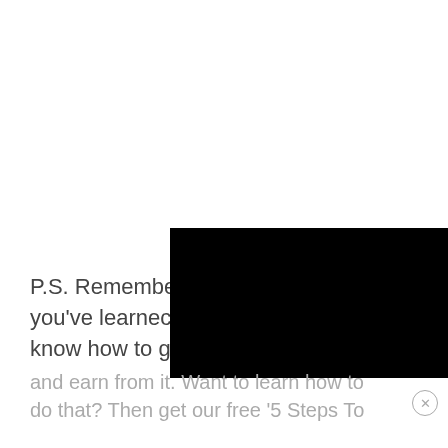P.S. Remember you've learned know how to g
[Figure (other): Black rectangular overlay covering part of the page content]
and earn from it. Want to learn how to do that? Then get our free '5 Steps To